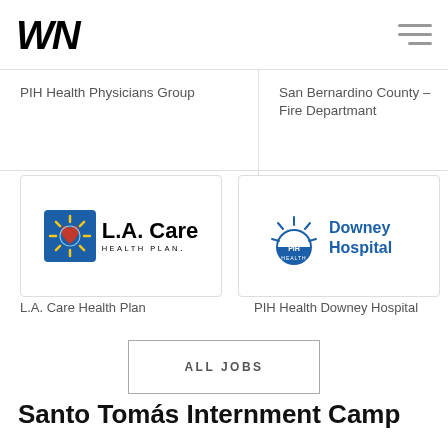WN
PIH Health Physicians Group
San Bernardino County – Fire Departmant
San Be… Depar… Health…
[Figure (logo): L.A. Care Health Plan logo — blue square sun icon with 'L.A. Care HEALTH PLAN' text]
[Figure (logo): PIH Health Downey Hospital logo — blue arch sun icon with 'PIH HEALTH Downey Hospital' text]
[Figure (logo): Partially visible logo on right edge]
L.A. Care Health Plan
PIH Health Downey Hospital
Adven…
ALL JOBS
Santo Tomás Internment Camp